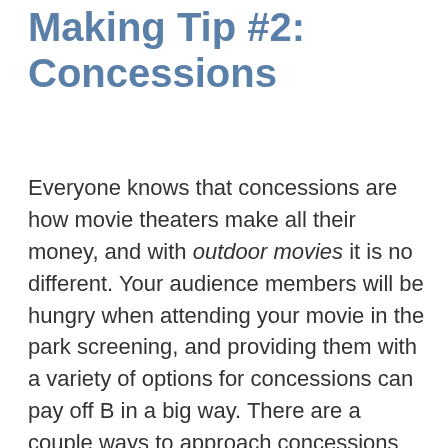Making Tip #2: Concessions
Everyone knows that concessions are how movie theaters make all their money, and with outdoor movies it is no different. Your audience members will be hungry when attending your movie in the park screening, and providing them with a variety of options for concessions can pay off B in a big way. There are a couple ways to approach concessions when it comes to monetization. The most direct way is to charge for popcorn, soda, water, and other treats, and to manage these services yourself. This option can generate a lot of revenue, but can also turn into a logistical nightmare if not planned properly. You'll need to own the necessary equipment such as a popcorn popper or shaved ice machine, and have the staff